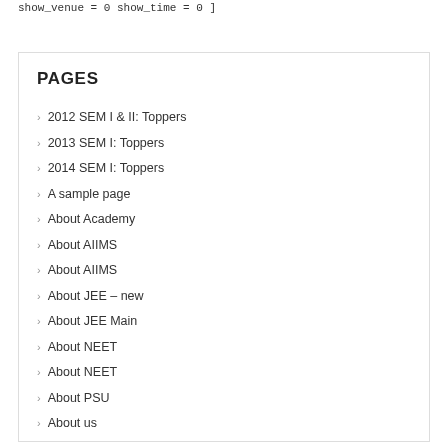show_venue = 0 show_time = 0 ]
PAGES
2012 SEM I & II: Toppers
2013 SEM I: Toppers
2014 SEM I: Toppers
A sample page
About Academy
About AIIMS
About AIIMS
About JEE – new
About JEE Main
About NEET
About NEET
About PSU
About us